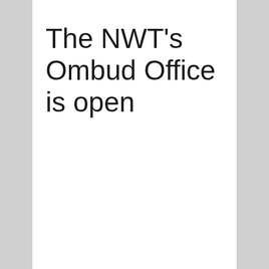The NWT’s Ombud Office is open